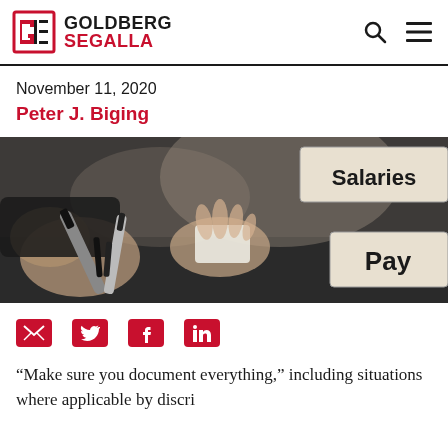Goldberg Segalla
November 11, 2020
Peter J. Biging
[Figure (photo): Close-up photo of hands holding pens with a 'Salaries' and 'Pay' sign visible in the background.]
social share icons: email, twitter, facebook, linkedin
“Make sure you document everything,” including situations where applicable by discri...